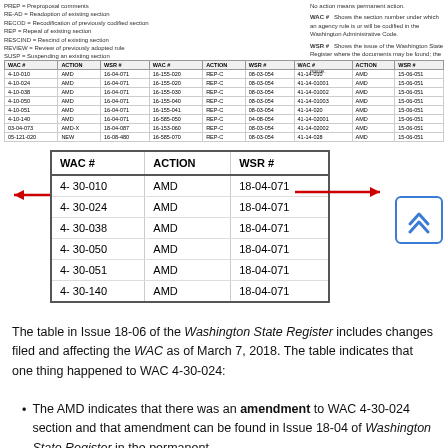| WAC # | ACTION | WSR # | WAC # | ACTION | WSR # | WAC # | ACTION | WSR # |
| --- | --- | --- | --- | --- | --- | --- | --- | --- |
| 4-10-010 | AMD | 16-04-071 | 16-155-020 | REP-C | 08-03-054 | 41-14-010 | AMD | 15-06-051 |
| 4-10-024 | AMD | 16-04-071 | 16-155-020 | REP-C | 08-03-054 | 41-14-01001 | AMD | 15-06-051 |
| 4-10-038 | AMD | 16-04-071 | 16-155-030 | REP-C | 08-03-054 | 41-14-01002 | AMD | 15-06-051 |
| 4-10-050 | AMD | 16-04-071 | 16-155-040 | REP-C | 08-03-054 | 41-14-01003 | AMD | 15-06-051 |
| 4-10-051 | AMD | 16-04-071 | 16-155-041 | REP-C | 08-03-054 | 41-14-020 | AMD | 15-06-051 |
| 4-10-140 | AMD | 16-04-071 | 16-585-050 | REP-C | 04-08-054 | 41-14-02001 | AMD | 15-06-051 |
| 03-04-073 | AMD-X | 18-04-087 | 16-153-060 | REP-C | 08-03-054 | 41-14-02002 | AMD | 15-06-051 |
| 05-121-020 | NEW | 16-08-480 | 16-585-070 | REP-C | 08-03-054 | 41-14-028 | AMD | 15-06-051 |
| WAC # | ACTION | WSR # |
| --- | --- | --- |
| 4- 30-010 | AMD | 18-04-071 |
| 4- 30-024 | AMD | 18-04-071 |
| 4- 30-038 | AMD | 18-04-071 |
| 4- 30-050 | AMD | 18-04-071 |
| 4- 30-051 | AMD | 18-04-071 |
| 4- 30-140 | AMD | 18-04-071 |
The table in Issue 18-06 of the Washington State Register includes changes filed and affecting the WAC as of March 7, 2018. The table indicates that one thing happened to WAC 4-30-024:
The AMD indicates that there was an amendment to WAC 4-30-024 section and that amendment can be found in Issue 18-04 of Washington State Register in the permanent